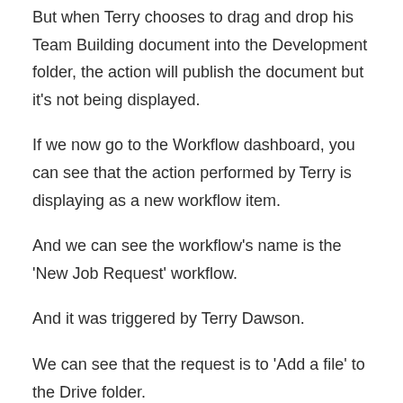But when Terry chooses to drag and drop his Team Building document into the Development folder, the action will publish the document but it's not being displayed.
If we now go to the Workflow dashboard, you can see that the action performed by Terry is displaying as a new workflow item.
And we can see the workflow's name is the 'New Job Request' workflow.
And it was triggered by Terry Dawson.
We can see that the request is to 'Add a file' to the Drive folder.